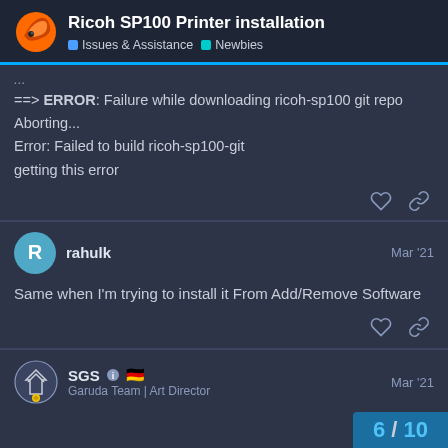Ricoh SP100 Printer installation | Issues & Assistance | Newbies
==> ERROR: Failure while downloading ricoh-sp100 git repo
Aborting...
Error: Failed to build ricoh-sp100-git
getting this error
rahulk  Mar '21
Same when I'm trying to install it From Add/Remove Software
SGS  Garuda Team | Art Director  Mar '21
6 / 10